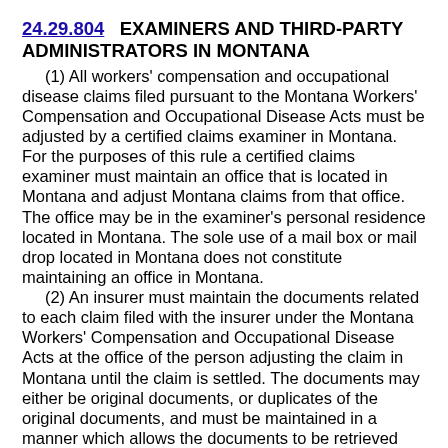24.29.804   EXAMINERS AND THIRD-PARTY ADMINISTRATORS IN MONTANA
(1) All workers' compensation and occupational disease claims filed pursuant to the Montana Workers' Compensation and Occupational Disease Acts must be adjusted by a certified claims examiner in Montana. For the purposes of this rule a certified claims examiner must maintain an office that is located in Montana and adjust Montana claims from that office. The office may be in the examiner's personal residence located in Montana. The sole use of a mail box or mail drop located in Montana does not constitute maintaining an office in Montana.
(2) An insurer must maintain the documents related to each claim filed with the insurer under the Montana Workers' Compensation and Occupational Disease Acts at the office of the person adjusting the claim in Montana until the claim is settled. The documents may either be original documents, or duplicates of the original documents, and must be maintained in a manner which allows the documents to be retrieved from that office and copied at the request of the claimant or the department. Settled claim files stored outside of the certified claims examiner's office must be made available at the...